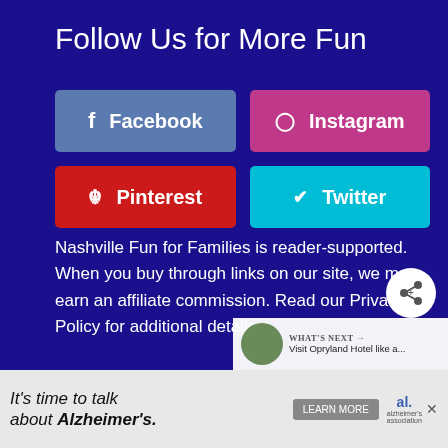Follow Us for More Fun
[Figure (infographic): Social media follow buttons: Facebook (blue-gray), Instagram (pink/magenta), Pinterest (red), Twitter (cyan)]
Nashville Fun for Families is reader-supported. When you buy through links on our site, we may earn an affiliate commission. Read our Privacy Policy for additional details.
[Figure (infographic): What's Next widget: Visit Opryland Hotel like a...]
[Figure (infographic): Advertisement banner: It's time to talk about Alzheimer's. Learn More. Alzheimer's Association logo.]